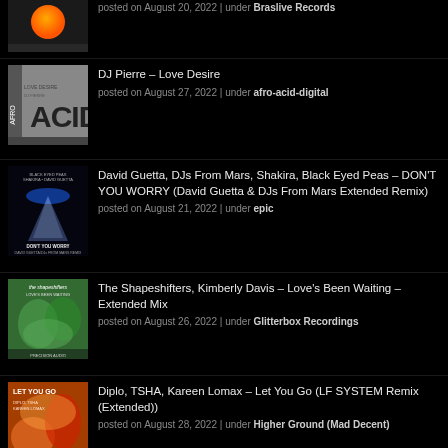posted on August 20, 2022 | under Braslive Records
DJ Pierre – Love Desire
posted on August 27, 2022 | under afro-acid-digital
David Guetta, DJs From Mars, Shakira, Black Eyed Peas – DON'T YOU WORRY (David Guetta & DJs From Mars Extended Remix)
posted on August 21, 2022 | under epic
The Shapeshifters, Kimberly Davis – Love's Been Waiting – Extended Mix
posted on August 26, 2022 | under Glitterbox Recordings
Diplo, TSHA, Kareen Lomax – Let You Go (LF SYSTEM Remix (Extended))
posted on August 28, 2022 | under Higher Ground (Mad Decent)
(partial entry cut off at bottom)